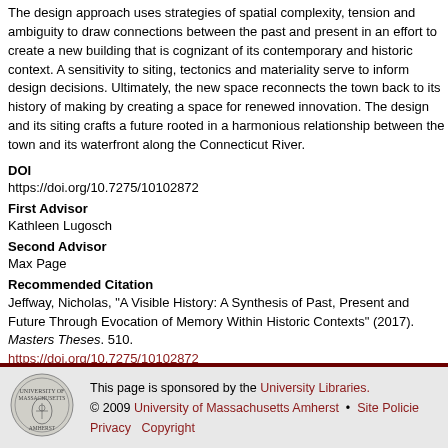The design approach uses strategies of spatial complexity, tension and ambiguity to draw connections between the past and present in an effort to create a new building that is cognizant of its contemporary and historic context. A sensitivity to siting, tectonics and materiality serve to inform design decisions. Ultimately, the new space reconnects the town back to its history of making by creating a space for renewed innovation. The design and its siting crafts a future rooted in a harmonious relationship between the town and its waterfront along the Connecticut River.
DOI
https://doi.org/10.7275/10102872
First Advisor
Kathleen Lugosch
Second Advisor
Max Page
Recommended Citation
Jeffway, Nicholas, "A Visible History: A Synthesis of Past, Present and Future Through Evocation of Memory Within Historic Contexts" (2017). Masters Theses. 510. https://doi.org/10.7275/10102872 https://scholarworks.umass.edu/masters_theses
This page is sponsored by the University Libraries. © 2009 University of Massachusetts Amherst • Site Policies Privacy Copyright